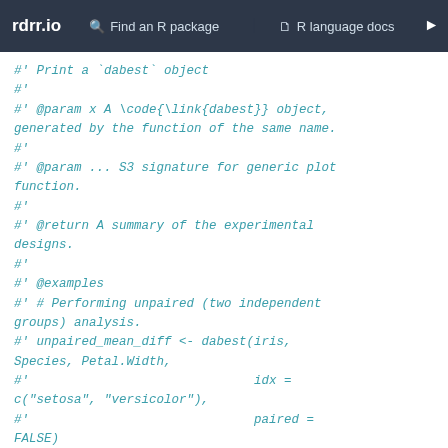rdrr.io   Find an R package   R language docs
#' Print a `dabest` object
#'
#' @param x A \code{\link{dabest}} object,
generated by the function of the same name.
#'
#' @param ... S3 signature for generic plot
function.
#'
#' @return A summary of the experimental
designs.
#'
#' @examples
#' # Performing unpaired (two independent
groups) analysis.
#' unpaired_mean_diff <- dabest(iris,
Species, Petal.Width,
#'                              idx =
c("setosa", "versicolor"),
#'                              paired =
FALSE)